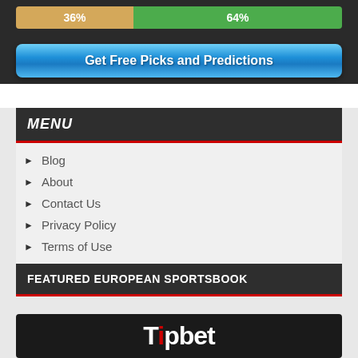[Figure (infographic): Progress bar showing 36% in tan/orange and 64% in green, with percentage labels]
[Figure (infographic): Blue gradient button labeled Get Free Picks and Predictions]
MENU
Blog
About
Contact Us
Privacy Policy
Terms of Use
FEATURED EUROPEAN SPORTSBOOK
[Figure (logo): Tipbet logo in white text on dark background with red dot on the i]